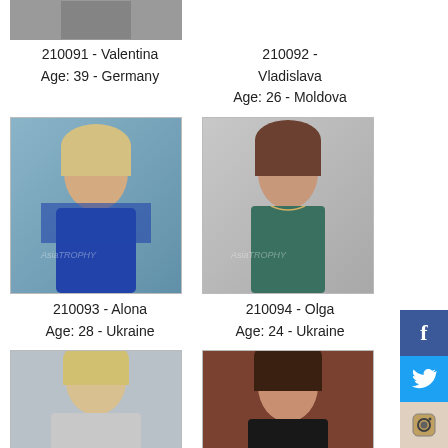[Figure (photo): Partial photo of Valentina, top cropped]
210091 - Valentina
Age: 39 - Germany
[Figure (photo): No photo visible for Vladislava at top]
210092 - Vladislava
Age: 26 - Moldova
[Figure (photo): Photo of Alona, young blonde woman]
210093 - Alona
Age: 28 - Ukraine
[Figure (photo): Photo of Olga, young brunette woman]
210094 - Olga
Age: 24 - Ukraine
[Figure (photo): Partial photo of blonde woman, bottom of page]
[Figure (photo): Partial photo of dark-haired woman, bottom of page]